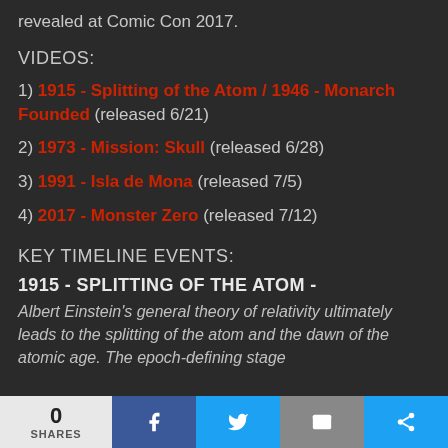revealed at Comic Con 2017.
VIDEOS:
1) 1915 - Splitting of the Atom / 1946 - Monarch Founded (released 6/21)
2) 1973 - Mission: Skull (released 6/28)
3) 1991 - Isla de Mona (released 7/5)
4) 2017 - Monster Zero (released 7/12)
KEY TIMELINE EVENTS:
1915 - SPLITTING OF THE ATOM -
Albert Einstein's general theory of relativity ultimately leads to the splitting of the atom and the dawn of the atomic age. The epoch-defining stage
0 SHARES